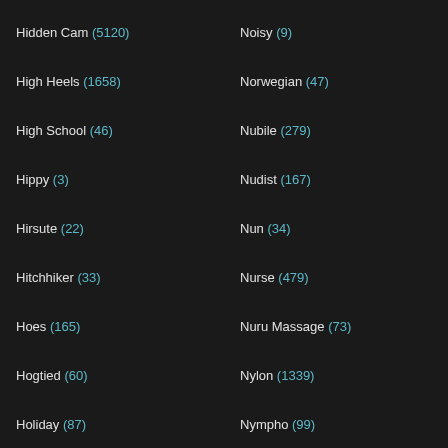Hidden Cam (5120)
High Heels (1658)
High School (46)
Hippy (3)
Hirsute (22)
Hitchhiker (33)
Hoes (165)
Hogtied (60)
Holiday (87)
Hollywood (27)
Home (657)
Homeless (14)
Homemade (4997)
Homemade Threesome (99)
Hooker (266)
Noisy (9)
Norwegian (47)
Nubile (279)
Nudist (167)
Nun (34)
Nurse (479)
Nuru Massage (73)
Nylon (1339)
Nympho (99)
Obese (16)
Office (726)
Oiled (1069)
Old & Young (3036)
Old Farts (3)
Old Man (274)